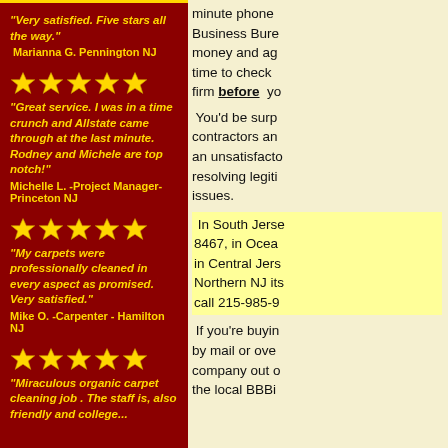"Very satisfied. Five stars all the way." Marianna G. Pennington NJ
[Figure (illustration): Five gold star rating icons]
"Great service. I was in a time crunch and Allstate came through at the last minute. Rodney and Michele are top notch!" Michelle L. -Project Manager-Princeton NJ
[Figure (illustration): Five gold star rating icons]
"My carpets were professionally cleaned in every aspect as promised. Very satisfied." Mike O. -Carpenter - Hamilton NJ
[Figure (illustration): Five gold star rating icons]
"Miraculous organic carpet cleaning job . The staff is, also friendly and college..."
minute phone Business Bureau money and ag time to check firm before yo
You'd be surp contractors an an unsatisfacto resolving legiti issues.
In South Jerse 8467, in Ocea in Central Jers Northern NJ its call 215-985-9
If you're buyin by mail or ove company out o the local BBBi